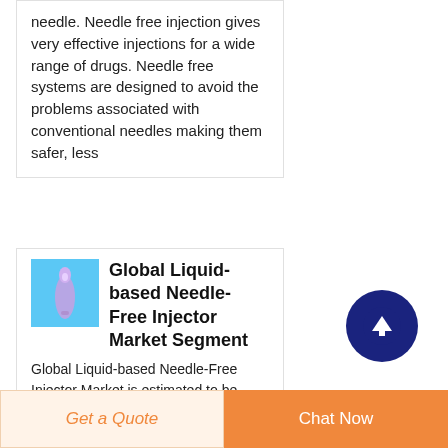needle. Needle free injection gives very effective injections for a wide range of drugs. Needle free systems are designed to avoid the problems associated with conventional needles making them safer, less
[Figure (photo): A needle-free injector device on a blue background]
Global Liquid-based Needle-Free Injector Market Segment
Global Liquid-based Needle-Free Injector Market is estimated to be valued US$
Get a Quote
Chat Now